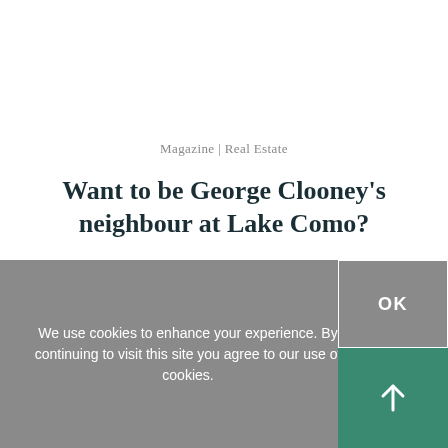Magazine | Real Estate
Want to be George Clooney's neighbour at Lake Como?
We use cookies to enhance your experience. By continuing to visit this site you agree to our use of cookies.